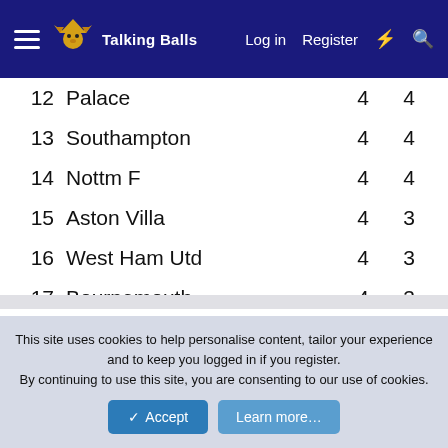Talking Balls — Log in  Register
| # | Team | P | Pts |
| --- | --- | --- | --- |
| 12 | Palace | 4 | 4 |
| 13 | Southampton | 4 | 4 |
| 14 | Nottm F | 4 | 4 |
| 15 | Aston Villa | 4 | 3 |
| 16 | West Ham Utd | 4 | 3 |
| 17 | Bournemouth | 4 | 3 |
| 18 | Everton | 4 | 2 |
| 19 | Wolves | 4 | 2 |
| 20 | Leicester | 4 | 1 |
Latest posts
Can we sort out our squad in the next four days?
This site uses cookies to help personalise content, tailor your experience and to keep you logged in if you register.
By continuing to use this site, you are consenting to our use of cookies.